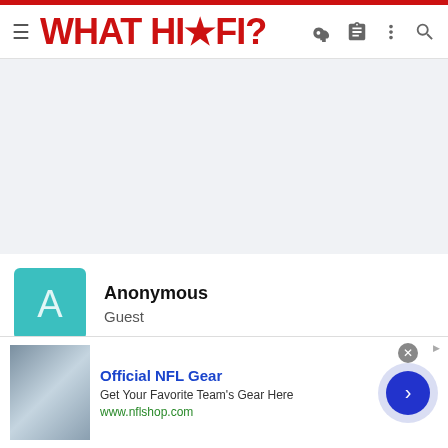WHAT HI*FI?
[Figure (other): Advertisement placeholder area, light blue-grey background]
Anonymous
Guest
Mar 1, 2011   #7
Cables, go for QED Silver Anniversary for the speakers, or
[Figure (other): Official NFL Gear advertisement banner with football jerseys image, title 'Official NFL Gear', description 'Get Your Favorite Team's Gear Here', URL www.nflshop.com, and a blue arrow CTA button]